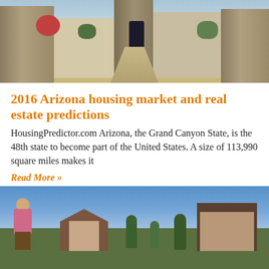[Figure (photo): Exterior photo of an upscale home with stone pillars, a paved driveway/pathway, and desert landscaping]
2016 Arizona housing market and real estate predictions
HousingPredictor.com Arizona, the Grand Canyon State, is the 48th state to become part of the United States. A size of 113,990 square miles makes it
Read More »
[Figure (photo): Suburban neighborhood photo showing a woman in a pink top standing in front of a row of houses with green trees and a blue sky]